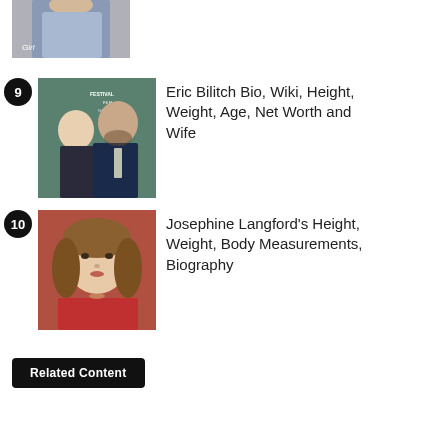[Figure (photo): Partial image of a woman in a light blue dress, cropped at top]
9 Eric Bilitch Bio, Wiki, Height, Weight, Age, Net Worth and Wife
[Figure (photo): Photo of a couple at a film festival, woman with blonde hair and man with beard in suit]
10 Josephine Langford's Height, Weight, Body Measurements, Biography
[Figure (photo): Portrait of Josephine Langford with wavy hair wearing red]
Related Content